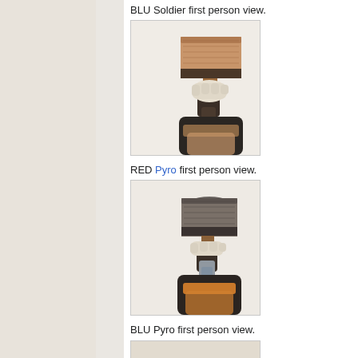BLU Soldier first person view.
[Figure (photo): BLU Soldier first person view of a wooden mallet/hammer weapon held in hand, showing brown wooden head and handle with dark grip elements, white gloved hand visible.]
RED Pyro first person view.
[Figure (photo): RED Pyro first person view of the same mallet weapon with grey/dark coloring on the head, white gloved hand holding the handle, dark grip, orange/brown sleeve visible at bottom.]
BLU Pyro first person view.
[Figure (photo): BLU Pyro first person view of the mallet weapon, partially visible at bottom of page.]